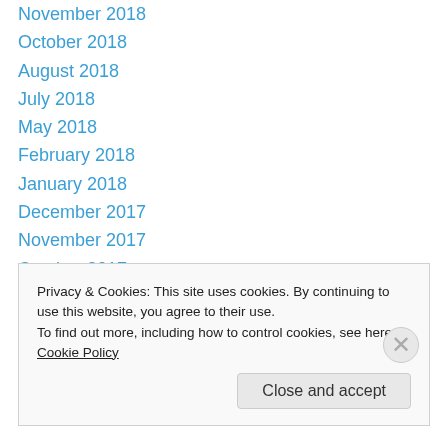November 2018
October 2018
August 2018
July 2018
May 2018
February 2018
January 2018
December 2017
November 2017
October 2017
September 2017
July 2017
June 2017
April 2017
Privacy & Cookies: This site uses cookies. By continuing to use this website, you agree to their use.
To find out more, including how to control cookies, see here: Cookie Policy